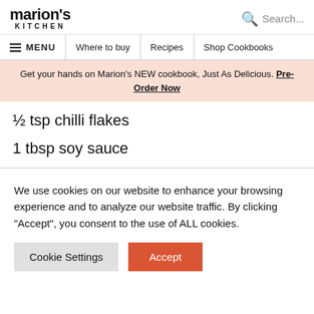marion's KITCHEN | Search...
≡ MENU | Where to buy | Recipes | Shop Cookbooks
Get your hands on Marion's NEW cookbook, Just As Delicious. Pre-Order Now
½ tsp chilli flakes
1 tbsp soy sauce
We use cookies on our website to enhance your browsing experience and to analyze our website traffic. By clicking "Accept", you consent to the use of ALL cookies.
Cookie Settings | Accept